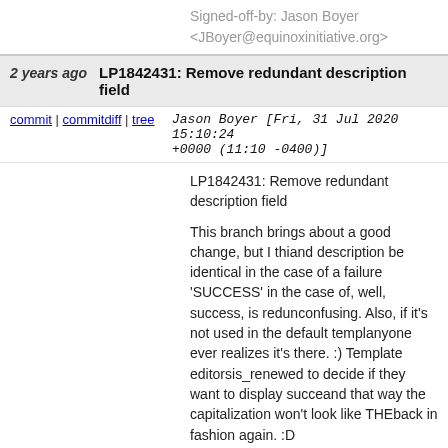Signed-off-by: Jason Boyer <JBoyer@equinoxinitiative.org>
2 years ago  LP1842431: Remove redundant description field
commit | commitdiff | tree   Jason Boyer [Fri, 31 Jul 2020 15:10:24 +0000 (11:10 -0400)]
LP1842431: Remove redundant description field

This branch brings about a good change, but I thi... and description be identical in the case of a failure... 'SUCCESS' in the case of, well, success, is redun... confusing. Also, if it's not used in the default templ... anyone ever realizes it's there. :) Template editors... is_renewed to decide if they want to display succe... and that way the capitalization won't look like THE... back in fashion again. :D

Signed-off-by: Jason Boyer <JBoyer@equinoxinitiative.org>
Signed-off-by: Jason Stephenson <jason@sigio.com>
2 years ago  LP#1842431 Split textcode and desc fields for AutoRenew user data
commit | commitdiff | tree   Jason Stephenson [Fri, 6 Sep 2019 15:09:18 +0000 (11:09 -0400)]